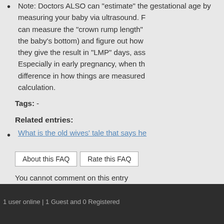Note: Doctors ALSO can "estimate" the gestational age by measuring your baby via ultrasound. For example, they can measure the "crown rump length" (from the top of the head to the baby's bottom) and figure out how old the baby is. But they give the result in "LMP" days, assuming 14 days. Especially in early pregnancy, when the baby is small, a difference in how things are measured can affect the calculation.
Tags: -
Related entries:
What is the old wives' tale that says he...
About this FAQ   Rate this FAQ
You cannot comment on this entry
1 user online | 1 Guest and 0 Registered